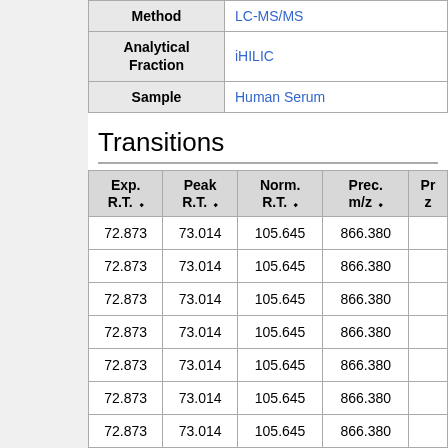| Method |  |
| --- | --- |
| Method | LC-MS/MS |
| Analytical Fraction | iHILIC |
| Sample | Human Serum |
Transitions
| Exp. R.T. | Peak R.T. | Norm. R.T. | Prec. m/z | Pr... |
| --- | --- | --- | --- | --- |
| 72.873 | 73.014 | 105.645 | 866.380 |  |
| 72.873 | 73.014 | 105.645 | 866.380 |  |
| 72.873 | 73.014 | 105.645 | 866.380 |  |
| 72.873 | 73.014 | 105.645 | 866.380 |  |
| 72.873 | 73.014 | 105.645 | 866.380 |  |
| 72.873 | 73.014 | 105.645 | 866.380 |  |
| 72.873 | 73.014 | 105.645 | 866.380 |  |
| 72.873 | 73.014 | 105.645 | 866.380 |  |